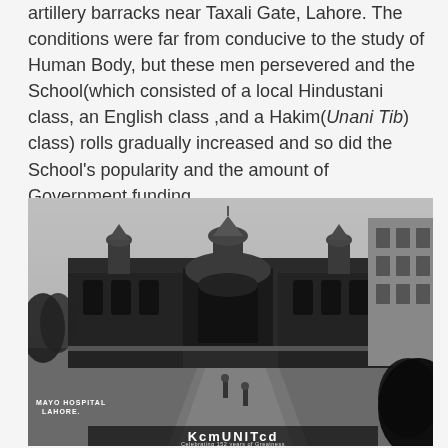Lahore Medical School was established in some run-down artillery barracks near Taxali Gate, Lahore. The conditions were far from conducive to the study of Human Body, but these men persevered and the School(which consisted of a local Hindustani class, an English class ,and a Hakim(Unani Tib) class) rolls gradually increased and so did the School's popularity and the amount of Government funding.
[Figure (photo): Historical black-and-white photograph of Mayo Hospital, Lahore. Shows a grand colonial-era building with arched entrances and domed towers. A wide road leads to the entrance. Text overlay at bottom reads 'MAYO HOSPITAL LAHORE.' and 'KcmUNITcd Celebrating 152 years of Greatness'.]